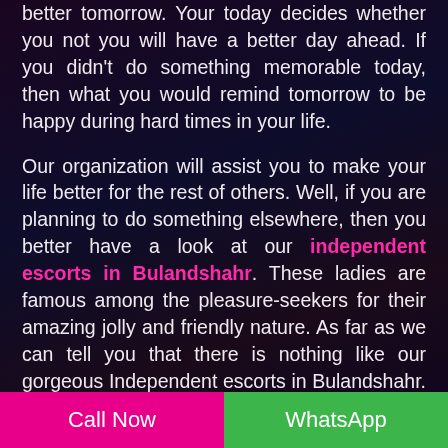better tomorrow. Your today decides whether you not you will have a better day ahead. If you didn't do something memorable today, then what you would remind tomorrow to be happy during hard times in your life.

Our organization will assist you to make your life better for the rest of others. Well, if you are planning to do something elsewhere, then you better have a look at our independent escorts in Bulandshahr. These ladies are famous among the pleasure-seekers for their amazing jolly and friendly nature. As far as we can tell you that there is nothing like our gorgeous Independent escorts in Bulandshahr. These beauties come up from various regions of the town and are ready to play with your cock like never before. Get us in touch now.
How to grab an amazing escort in your arms quickly?
Call Now | WhatsApp